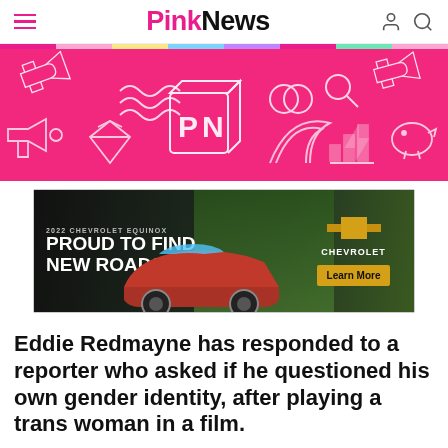PinkNews
[Figure (illustration): PinkNews branded pink banner with white outline icons including airplanes, waves, megaphone, diamond, rings, magnifying glass, arrows, piggy bank, and PN logo in 3D style]
[Figure (photo): 2022 Chevrolet Equinox advertisement. Text reads: 2022 CHEVROLET EQUINOX / PROUD TO FIND NEW ROADS. Shows red Equinox SUV. Chevrolet logo and Learn More button visible.]
Eddie Redmayne has responded to a reporter who asked if he questioned his own gender identity, after playing a trans woman in a film.